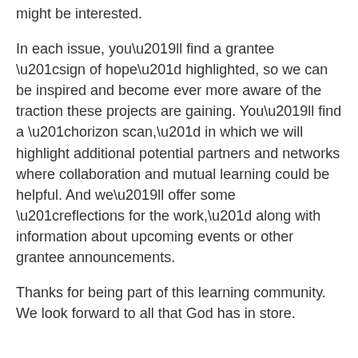might be interested.
In each issue, you’ll find a grantee “sign of hope” highlighted, so we can be inspired and become ever more aware of the traction these projects are gaining. You’ll find a “horizon scan,” in which we will highlight additional potential partners and networks where collaboration and mutual learning could be helpful. And we’ll offer some “reflections for the work,” along with information about upcoming events or other grantee announcements.
Thanks for being part of this learning community. We look forward to all that God has in store.